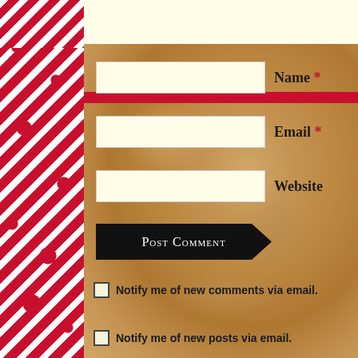[Figure (illustration): Web comment form with red and white diagonal stripe border on left and top, parchment-style brown background on main content area. Contains Name, Email, Website input fields with cream/yellow backgrounds, a black arrow-shaped Post Comment button, and two checkbox options for email notifications.]
Name *
Email *
Website
Post Comment
Notify me of new comments via email.
Notify me of new posts via email.